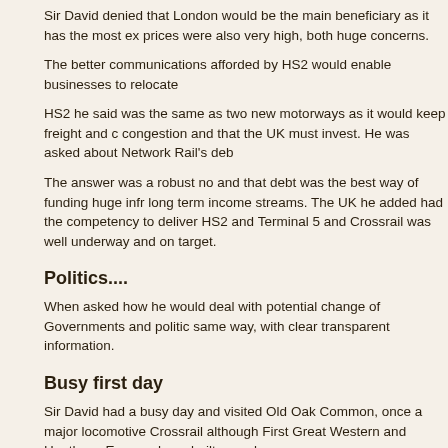Sir David denied that London would be the main beneficiary as it has the most ex prices were also very high, both huge concerns.
The better communications afforded by HS2 would enable businesses to relocate
HS2 he said was the same as two new motorways as it would keep freight and c congestion and that the UK must invest. He was asked about Network Rail's deb
The answer was a robust no and that debt was the best way of funding huge infr long term income streams. The UK he added had the competency to deliver HS2 and Terminal 5 and Crossrail was well underway and on target.
Politics....
When asked how he would deal with potential change of Governments and politic same way, with clear transparent information.
Busy first day
Sir David had a busy day and visited Old Oak Common, once a major locomotive Crossrail although First Great Western and Heathrow Express have built a mode
The HS2 project also generated more positive PR by announcing that plans for a world-class engineers to work on the construction of High Speed Two (HS2) have specialised training and qualifications needed for high speed rail to benefit HS2 a country. It would provide the required technical training to make HS2 a success a workers.
The announcement was made during a visit to the Old Oak Common railway dep Hancock.